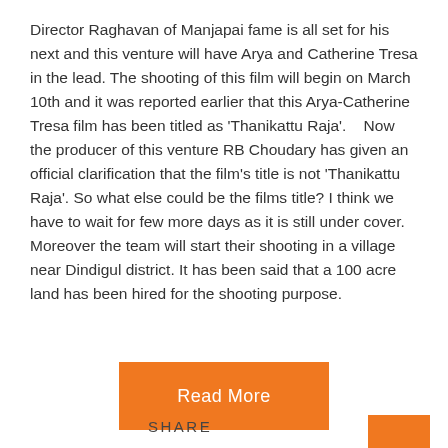Director Raghavan of Manjapai fame is all set for his next and this venture will have Arya and Catherine Tresa in the lead. The shooting of this film will begin on March 10th and it was reported earlier that this Arya-Catherine Tresa film has been titled as 'Thanikattu Raja'.    Now the producer of this venture RB Choudary has given an official clarification that the film's title is not 'Thanikattu Raja'. So what else could be the films title? I think we have to wait for few more days as it is still under cover.    Moreover the team will start their shooting in a village near Dindigul district. It has been said that a 100 acre land has been hired for the shooting purpose.
Read More
SHARE